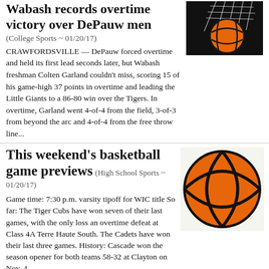Wabash records overtime victory over DePauw men (College Sports ~ 01/20/17)
[Figure (photo): Basketball going through a hoop/net, dramatic angle]
CRAWFORDSVILLE — DePauw forced overtime and held its first lead seconds later, but Wabash freshman Colten Garland couldn't miss, scoring 15 of his game-high 37 points in overtime and leading the Little Giants to a 86-80 win over the Tigers. In overtime, Garland went 4-of-4 from the field, 3-of-3 from beyond the arc and 4-of-4 from the free throw line...
This weekend's basketball game previews (High School Sports ~ 01/20/17)
[Figure (photo): Orange basketball on white background]
Game time: 7:30 p.m. varsity tipoff for WIC title So far: The Tiger Cubs have won seven of their last games, with the only loss an overtime defeat at Class 4A Terre Haute South. The Cadets have won their last three games. History: Cascade won the season opener for both teams 58-32 at Clayton on Nov. 4...
FEATURED ATHLETE OF THE WEEK: Johnathan Thibodeau, South
[Figure (photo): Athlete photo, outdoor sports field]